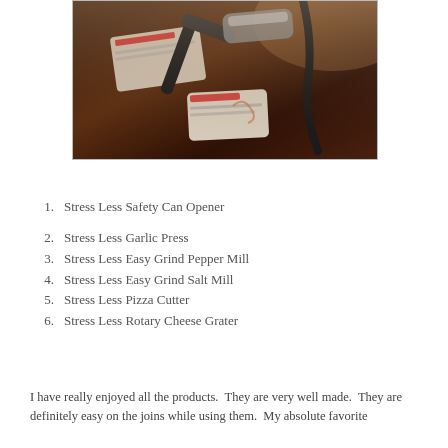[Figure (photo): Photo of kitchen utensils/can openers in a brown box, showing Stress Less branded products including can opener and other tools]
1.    Stress Less Safety Can Opener
2.    Stress Less Garlic Press
3.    Stress Less Easy Grind Pepper Mill
4.    Stress Less Easy Grind Salt Mill
5.    Stress Less Pizza Cutter
6.    Stress Less Rotary Cheese Grater
I have really enjoyed all the products.  They are very well made.  They are definitely easy on the joins while using them.  My absolute favorite